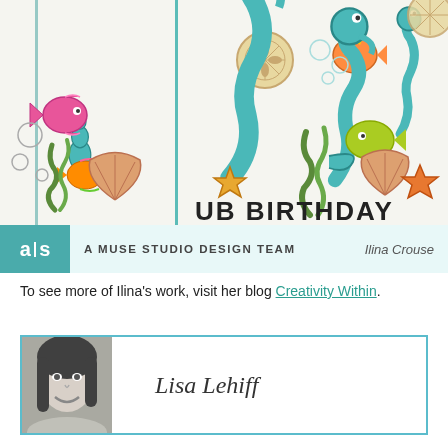[Figure (photo): Colorful hand-drawn card featuring seahorses, fish, seashells, starfish, and seaweed on white background with teal border accents and text 'BIRTHDAY' partially visible]
A MUSE STUDIO DESIGN TEAM    Ilina Crouse
To see more of Ilina's work, visit her blog Creativity Within.
[Figure (photo): Black and white portrait photo of a young woman with long dark hair, smiling]
Lisa Lehiff